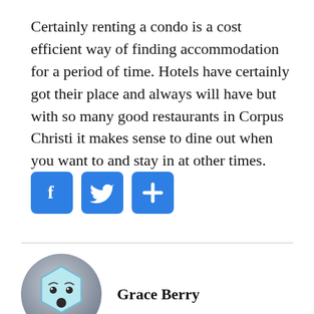Certainly renting a condo is a cost efficient way of finding accommodation for a period of time. Hotels have certainly got their place and always will have but with so many good restaurants in Corpus Christi it makes sense to dine out when you want to and stay in at other times.
[Figure (infographic): Three blue square social media sharing buttons: Facebook (f icon), Twitter (bird icon), and a plus (+) share button]
[Figure (illustration): Circular avatar with gradient gray background containing a light blue hexagon face with eyes and open mouth expression, representing author Grace Berry]
Grace Berry